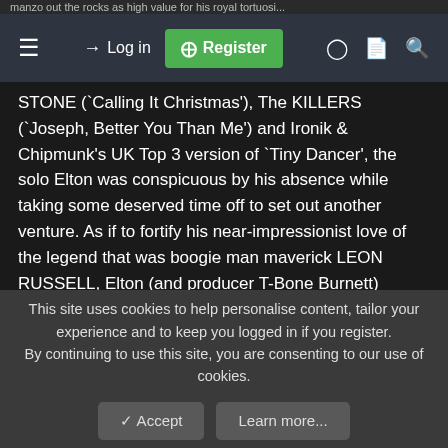manzo out the rocks as high value for his royal tortuosi...
[Figure (screenshot): Navigation bar with hamburger menu, Log in button, green Register button, toggle, document icon, and search icon on dark background]
STONE (`Calling It Christmas'), The KILLERS (`Joseph, Better You Than Me') and Ironik & Chipmunk's UK Top 3 version of `Tiny Dancer', the solo Elton was conspicuous by his absence while taking some deserved time off to set out another venture. As if to fortify his near-impressionist love of the legend that was boogie man maverick LEON RUSSELL, Elton (and producer T-Bone Burnett) rooted-out the piano player and invited his into the studio. After the pair hit it off, 14 songs made it on to the co-credited THEUNION (2010) {*6} set. Balanced by a few RUSSELL contributions and fresh works by the permutation of Elton, Bernie or Leon himself, the connection was one for the Jools Holland-minded musos; example `If It Wasn't For Bad', `A Dream Come True' and `Hey Ahab'.
This site uses cookies to help personalise content, tailor your experience and to keep you logged in if you register.
By continuing to use this site, you are consenting to our use of cookies.